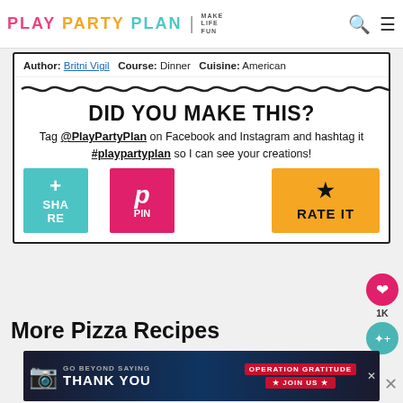PLAY PARTY PLAN | MAKE LIFE FUN
Author: Britni Vigil   Course: Dinner   Cuisine: American
DID YOU MAKE THIS?
Tag @PlayPartyPlan on Facebook and Instagram and hashtag it #playpartyplan so I can see your creations!
[Figure (screenshot): Social sharing buttons: SHARE (teal), PIN (pink/magenta), RATE IT (orange with star)]
More Pizza Recipes
[Figure (photo): Advertisement banner: GO BEYOND SAYING THANK YOU - Operation Gratitude - JOIN US]